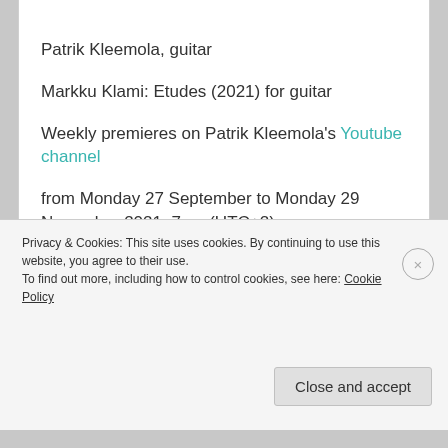Patrik Kleemola, guitar
Markku Klami: Etudes (2021) for guitar
Weekly premieres on Patrik Kleemola's Youtube channel
from Monday 27 September to Monday 29 November 2021, 7pm (UTC+2)
© Jari Kallio
Privacy & Cookies: This site uses cookies. By continuing to use this website, you agree to their use.
To find out more, including how to control cookies, see here: Cookie Policy